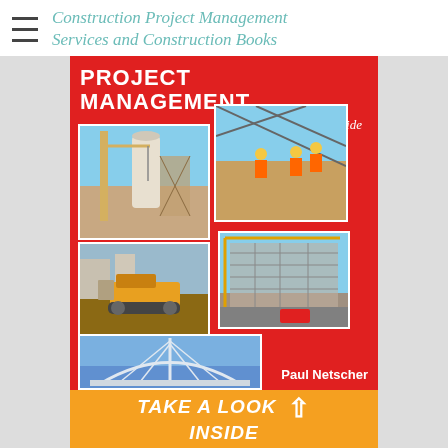Construction Project Management Services and Construction Books
[Figure (illustration): Book cover for 'Project Management: The Practical Guide' by Paul Netscher. Red cover with collage of construction site photos including tower cranes, workers, bulldozer, building under construction, and a bridge. Orange banner at bottom reads 'TAKE A LOOK INSIDE' with upward arrow.]
TAKE A LOOK INSIDE